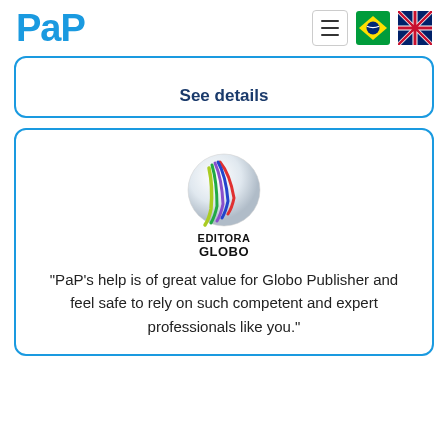PaP
See details
[Figure (logo): Editora Globo logo — a globe sphere with colorful vertical lines (red, green, blue, purple, yellow-green) and text EDITORA GLOBO below]
"PaP's help is of great value for Globo Publisher and feel safe to rely on such competent and expert professionals like you."